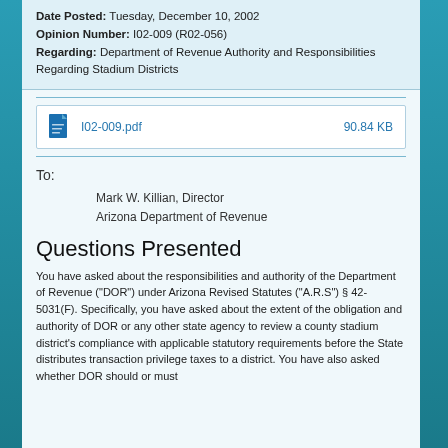Date Posted: Tuesday, December 10, 2002
Opinion Number: I02-009 (R02-056)
Regarding: Department of Revenue Authority and Responsibilities Regarding Stadium Districts
[Figure (other): File attachment link: I02-009.pdf, 90.84 KB]
To:
Mark W. Killian, Director
Arizona Department of Revenue
Questions Presented
You have asked about the responsibilities and authority of the Department of Revenue ("DOR") under Arizona Revised Statutes ("A.R.S")  § 42-5031(F).  Specifically, you have asked about the extent of the obligation and authority of DOR or any other state agency to review a county stadium district's compliance with applicable statutory requirements before the State distributes transaction privilege taxes to a district.  You have also asked  whether DOR should or must